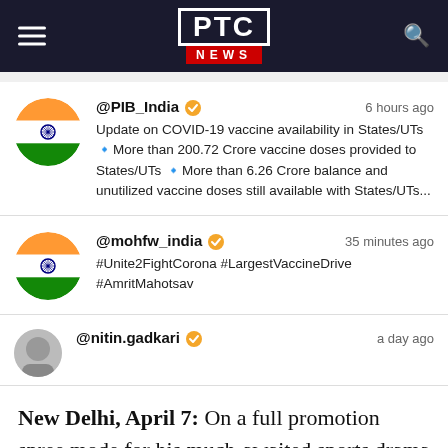PTC NEWS
[Figure (screenshot): Tweet from @PIB_India with Indian flag avatar, verified badge, timestamp '6 hours ago'. Text: Update on COVID-19 vaccine availability in States/UTs More than 200.72 Crore vaccine doses provided to States/UTs More than 6.26 Crore balance and unutilized vaccine doses still available with States/UTs...]
[Figure (screenshot): Tweet from @mohfw_india with Indian flag avatar, verified badge, timestamp '35 minutes ago'. Text: #Unite2FightCorona #LargestVaccineDrive #AmritMahotsav]
[Figure (screenshot): Tweet from @nitin.gadkari with avatar (partially visible), verified badge, timestamp 'a day ago'.]
New Delhi, April 7: On a full promotion spree mode for his much-awaited sports drama 'Jersey', actor Shahid Kapoor appeared on the sets of 'India's Got Talent' with his co-star